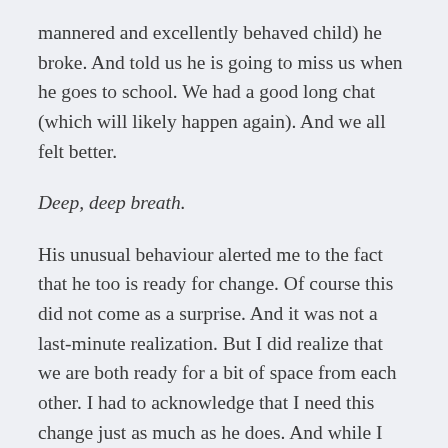mannered and excellently behaved child) he broke. And told us he is going to miss us when he goes to school. We had a good long chat (which will likely happen again). And we all felt better.
Deep, deep breath.
His unusual behaviour alerted me to the fact that he too is ready for change. Of course this did not come as a surprise. And it was not a last-minute realization. But I did realize that we are both ready for a bit of space from each other. I had to acknowledge that I need this change just as much as he does. And while I am nervous and excited for him to go on out there, I am equally so for myself to have some time to me.
Perhaps. That the both parts of the story will benefit from th